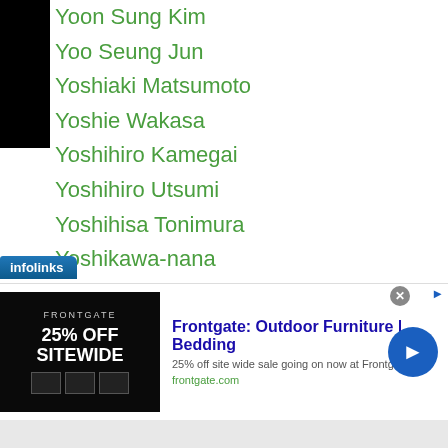Yoon Sung Kim
Yoo Seung Jun
Yoshiaki Matsumoto
Yoshie Wakasa
Yoshihiro Kamegai
Yoshihiro Utsumi
Yoshihisa Tonimura
Yoshikawa-nana
Yoshiki Minato
Yoshiki Takahashi
Yoshiki Takei
Yoshimichi Matsumoto
Yoshimitsu Kimura
Yoshinori Nishizawa
Yoshinori Takahashi
Shirai
[Figure (screenshot): Infolinks advertisement banner for Frontgate: Outdoor Furniture and Bedding, 25% off site wide sale]